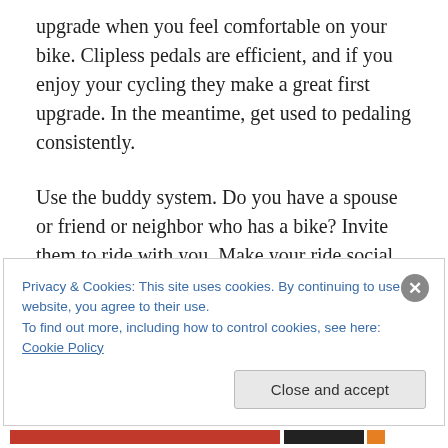upgrade when you feel comfortable on your bike. Clipless pedals are efficient, and if you enjoy your cycling they make a great first upgrade. In the meantime, get used to pedaling consistently.
Use the buddy system. Do you have a spouse or friend or neighbor who has a bike? Invite them to ride with you. Make your ride social. If someone else is riding with you, you're less likely to skip a ride. There is also safety in numbers. Riding alone is great, but for most of us, a riding buddy is incentive to ride more so you can get the most
Privacy & Cookies: This site uses cookies. By continuing to use this website, you agree to their use.
To find out more, including how to control cookies, see here: Cookie Policy
Close and accept